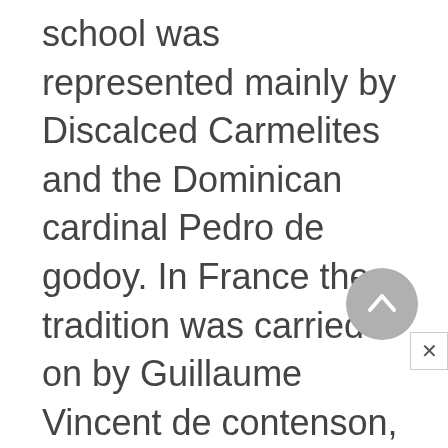school was represented mainly by Discalced Carmelites and the Dominican cardinal Pedro de godoy. In France the tradition was carried on by Guillaume Vincent de contenson, Antonin Reginald, Jean Baptiste gonet, Antoine goudin, and Antonin massouliÉ. In Belgium the outstanding representative was Charles René billuart, whose principal work was a commentary on the Summa in 18 volumes. In Italy Thomism was best represented by the Jesuit philosopher